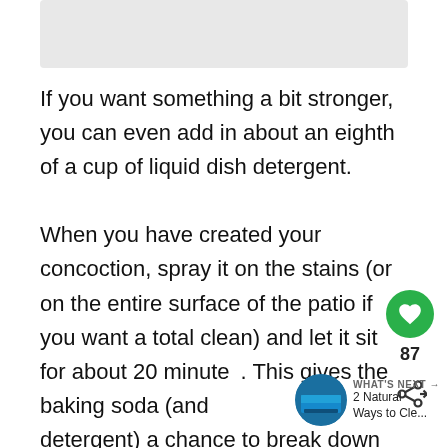[Figure (photo): Partial image visible at top of page, appears to be a patio or outdoor surface cleaning photo]
If you want something a bit stronger, you can even add in about an eighth of a cup of liquid dish detergent.
When you have created your concoction, spray it on the stains (or on the entire surface of the patio if you want a total clean) and let it sit for about 20 minutes. This gives the baking soda (and detergent) a chance to break down the dirt and grime.
[Figure (screenshot): UI overlay: heart/like button showing 87, share button, and 'WHAT'S NEXT' card showing '2 Natural Ways to Cle...' with a pool thumbnail]